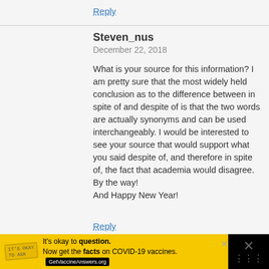Reply
Steven_nus
December 22, 2018
What is your source for this information? I am pretty sure that the most widely held conclusion as to the difference between in spite of and despite of is that the two words are actually synonyms and can be used interchangeably. I would be interested to see your source that would support what you said despite of, and therefore in spite of, the fact that academia would disagree. By the way!
And Happy New Year!
Reply
Saka Abiodun
May 17, 2019
[Figure (infographic): Yellow advertisement bar at bottom: It's okay to question. Now get the facts on COVID-19 vaccines. GetVaccineAnswers.org]